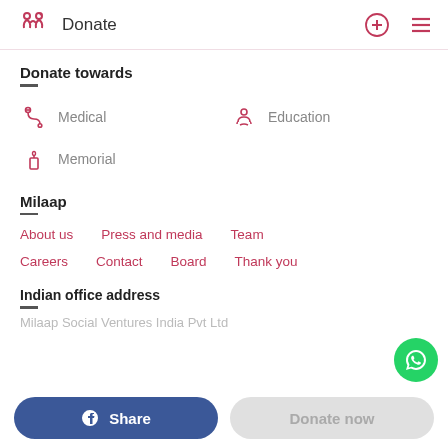Donate
Donate towards
Medical
Education
Memorial
Milaap
About us
Press and media
Team
Careers
Contact
Board
Thank you
Indian office address
Milaap Social Ventures India Pvt Ltd